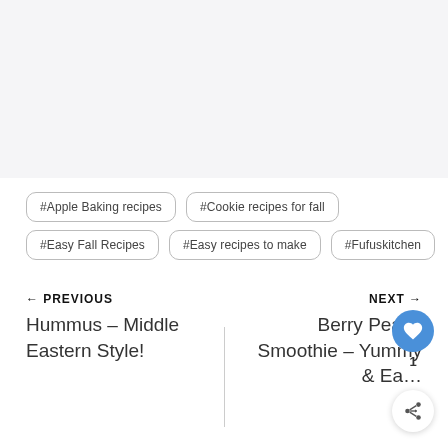#Apple Baking recipes
#Cookie recipes for fall
#Easy Fall Recipes
#Easy recipes to make
#Fufuskitchen
← PREVIOUS
Hummus – Middle Eastern Style!
NEXT →
Berry Peach Smoothie – Yummy & Ea…